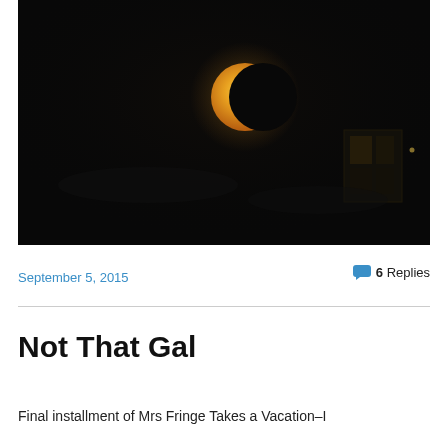[Figure (photo): Night sky photograph showing a large orange-yellow partial moon against a very dark black sky. A building window is visible in the lower right area.]
September 5, 2015
6 Replies
Not That Gal
Final installment of Mrs Fringe Takes a Vacation–I